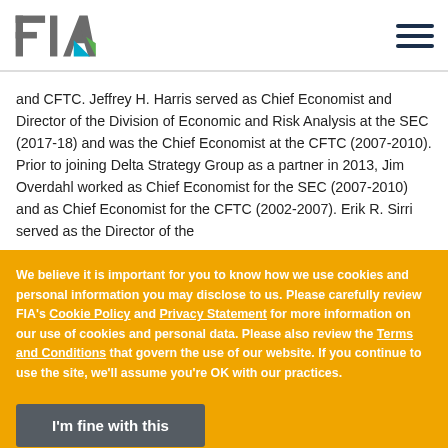FIA logo and navigation
and CFTC. Jeffrey H. Harris served as Chief Economist and Director of the Division of Economic and Risk Analysis at the SEC (2017-18) and was the Chief Economist at the CFTC (2007-2010). Prior to joining Delta Strategy Group as a partner in 2013, Jim Overdahl worked as Chief Economist for the SEC (2007-2010) and as Chief Economist for the CFTC (2002-2007). Erik R. Sirri served as the Director of the
We believe it is important for you to know how we use cookies and personal information you may disclose to us. Please carefully review FIA's Cookie Policy and Privacy Statement for more information on our use of cookies and personal data. Please also review the Terms and Conditions that govern the use of our website. If you continue to use the site, we'll assume you're OK with our practices.
I'm fine with this